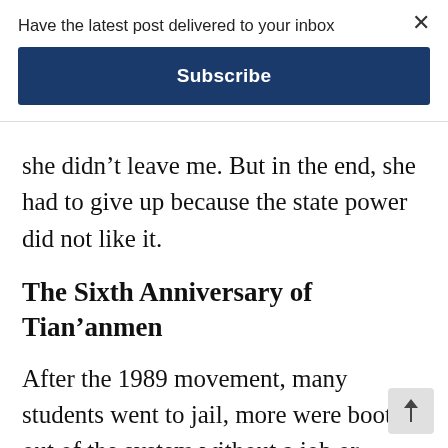Have the latest post delivered to your inbox
Subscribe
she didn't leave me. But in the end, she had to give up because the state power did not like it.
The Sixth Anniversary of Tian'anmen
After the 1989 movement, many students went to jail, more were booted out of the system without a job or unable to maintain one because of lasting and systematic interference from the government. In the 1990s, Hainan had become a destination for many 1989ers, including Zhang Qianjin (张倩进), Wang Dan (王丹), Kong Xianfeng, Lu Jingwei (卢景威), Zhang Yuan (张援)■Zh…